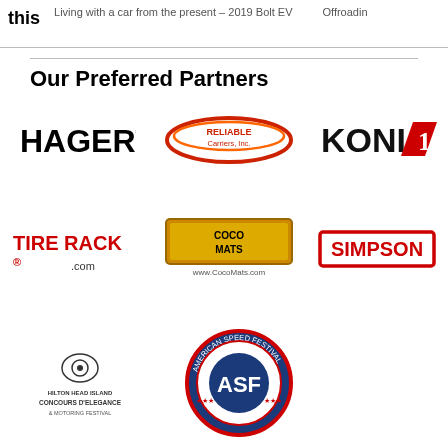this | Living with a car from the present – 2019 Bolt EV | Offroading
Our Preferred Partners
[Figure (logo): HAGERTY logo in black bold text]
[Figure (logo): Reliable Carriers Inc. logo in red/orange swoosh style]
[Figure (logo): KONI shock absorbers logo in black and red]
[Figure (logo): TIRE RACK .com logo in red and black]
[Figure (logo): COCO MATS logo in orange/yellow box with www.CocoMats.com]
[Figure (logo): SIMPSON logo in red outlined box]
[Figure (logo): Hilton Head Island Concours d'Elegance & Motoring Festival logo]
[Figure (logo): American Speed Festival circular badge logo]